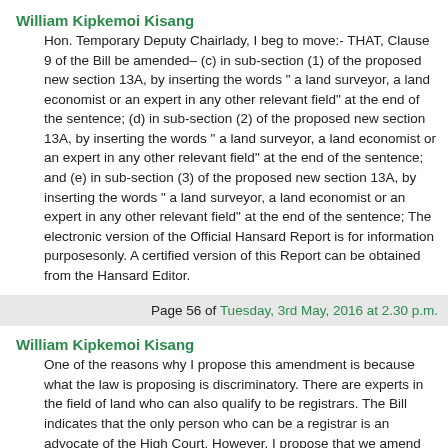William Kipkemoi Kisang
Hon. Temporary Deputy Chairlady, I beg to move:- THAT, Clause 9 of the Bill be amended– (c) in sub-section (1) of the proposed new section 13A, by inserting the words “ a land surveyor, a land economist or an expert in any other relevant field” at the end of the sentence; (d) in sub-section (2) of the proposed new section 13A, by inserting the words “ a land surveyor, a land economist or an expert in any other relevant field” at the end of the sentence; and (e) in sub-section (3) of the proposed new section 13A, by inserting the words “ a land surveyor, a land economist or an expert in any other relevant field” at the end of the sentence; The electronic version of the Official Hansard Report is for information purposesonly. A certified version of this Report can be obtained from the Hansard Editor.
Page 56 of Tuesday, 3rd May, 2016 at 2.30 p.m.
William Kipkemoi Kisang
One of the reasons why I propose this amendment is because what the law is proposing is discriminatory. There are experts in the field of land who can also qualify to be registrars. The Bill indicates that the only person who can be a registrar is an advocate of the High Court. However, I propose that we amend